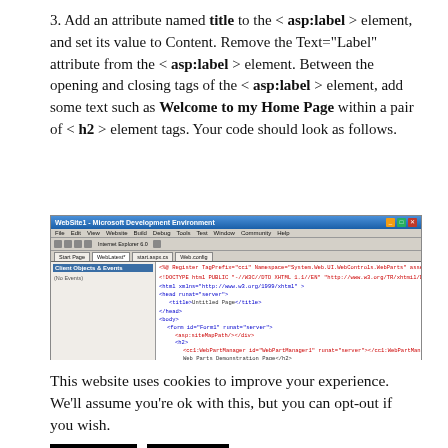3. Add an attribute named title to the < asp:label > element, and set its value to Content. Remove the Text="Label" attribute from the < asp:label > element. Between the opening and closing tags of the < asp:label > element, add some text such as Welcome to my Home Page within a pair of < h2 > element tags. Your code should look as follows.
[Figure (screenshot): Screenshot of Microsoft Visual Studio IDE showing ASP.NET markup code with HTML structure including DOCTYPE, html, head, body, form tags and asp:label elements]
This website uses cookies to improve your experience. We'll assume you're ok with this, but you can opt-out if you wish.